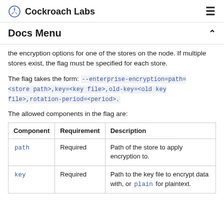Cockroach Labs
Docs Menu
the encryption options for one of the stores on the node. If multiple stores exist, the flag must be specified for each store.
The flag takes the form: --enterprise-encryption=path=<store path>,key=<key file>,old-key=<old key file>,rotation-period=<period>.
The allowed components in the flag are:
| Component | Requirement | Description |
| --- | --- | --- |
| path | Required | Path of the store to apply encryption to. |
| key | Required | Path to the key file to encrypt data with, or plain for plaintext. |